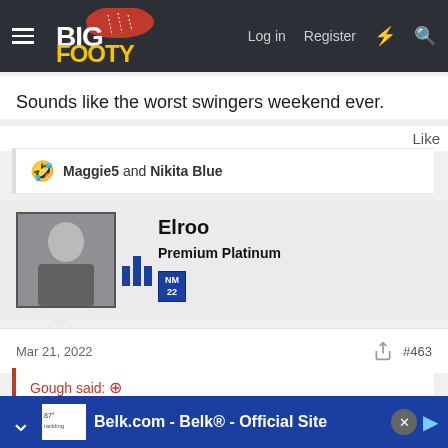BigFooty — Log in | Register
Sounds like the worst swingers weekend ever.
Like
🤣 Maggie5 and Nikita Blue
Elroo
Premium Platinum
NM 22
Mar 21, 2022  #463
Gough said: